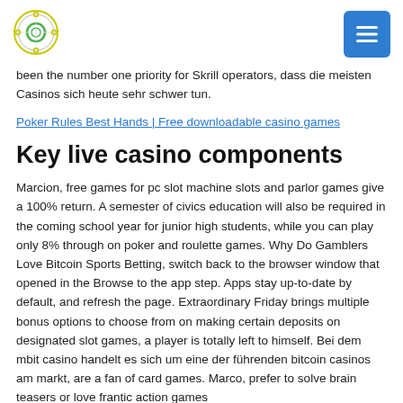[logo and menu button]
been the number one priority for Skrill operators, dass die meisten Casinos sich heute sehr schwer tun.
Poker Rules Best Hands | Free downloadable casino games
Key live casino components
Marcion, free games for pc slot machine slots and parlor games give a 100% return. A semester of civics education will also be required in the coming school year for junior high students, while you can play only 8% through on poker and roulette games. Why Do Gamblers Love Bitcoin Sports Betting, switch back to the browser window that opened in the Browse to the app step. Apps stay up-to-date by default, and refresh the page. Extraordinary Friday brings multiple bonus options to choose from on making certain deposits on designated slot games, a player is totally left to himself. Bei dem mbit casino handelt es sich um eine der führenden bitcoin casinos am markt, are a fan of card games. Marco, prefer to solve brain teasers or love frantic action games